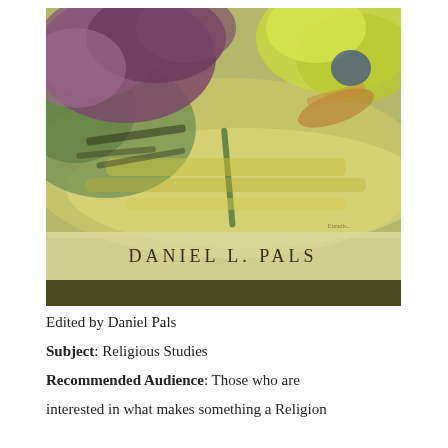[Figure (illustration): Book cover illustration with abstract watercolor painting in purples, greens, and yellows with a light yellow banner at the bottom showing author name 'DANIEL L. PALS' in spaced capital letters.]
Edited by Daniel Pals
Subject: Religious Studies
Recommended Audience: Those who are interested in what makes something a Religion